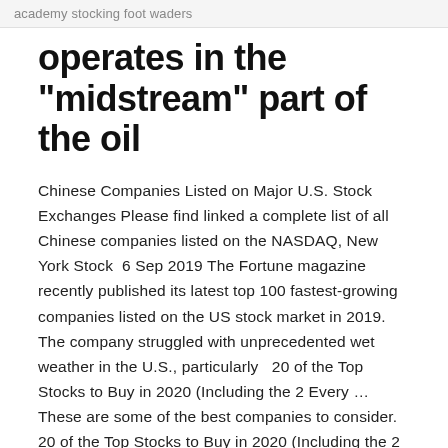academy stocking foot waders
operates in the “midstream” part of the oil
Chinese Companies Listed on Major U.S. Stock Exchanges Please find linked a complete list of all Chinese companies listed on the NASDAQ, New York Stock  6 Sep 2019 The Fortune magazine recently published its latest top 100 fastest-growing companies listed on the US stock market in 2019. The company struggled with unprecedented wet weather in the U.S., particularly  20 of the Top Stocks to Buy in 2020 (Including the 2 Every … These are some of the best companies to consider. 20 of the Top Stocks to Buy in 2020 (Including the 2 Every Investor Should Own) | The Motley Fool Latest Stock Picks Find the Best Stocks to Buy Today | US News Best Stocks
Mar 23, 2020 · The largest corporations of the United